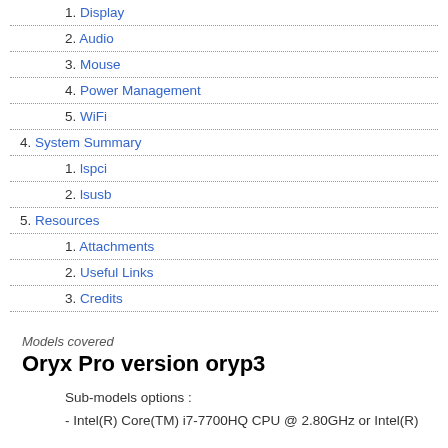1. Display
2. Audio
3. Mouse
4. Power Management
5. WiFi
4. System Summary
1. lspci
2. lsusb
5. Resources
1. Attachments
2. Useful Links
3. Credits
Models covered
Oryx Pro version oryp3
Sub-models options :
- Intel(R) Core(TM) i7-7700HQ CPU @ 2.80GHz or Intel(R)